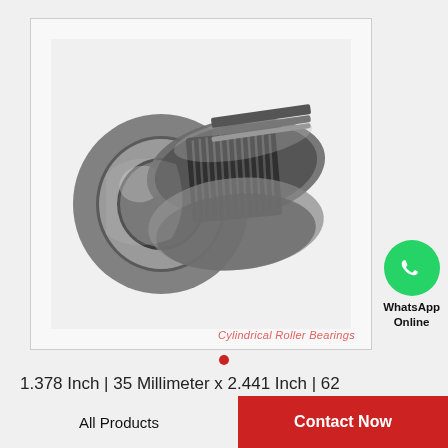[Figure (photo): Cylindrical roller bearing (INA brand) shown disassembled — metallic steel bearing components with needle/cylindrical roller cage visible, on white background. Text watermark: 'Cylindrical Roller Bearings']
[Figure (logo): WhatsApp green circle icon with phone handset in white, labeled 'WhatsApp Online' below]
1.378 Inch | 35 Millimeter x 2.441 Inch | 62 Millimeter x 1.417 Inch | 36 Millimeter INA…
All Products    Contact Now